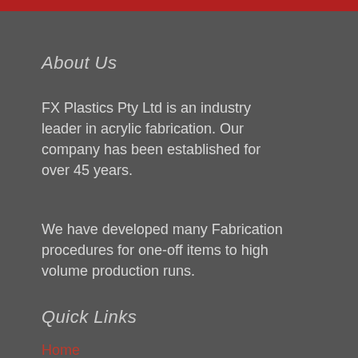About Us
FX Plastics Pty Ltd is an industry leader in acrylic fabrication. Our company has been established for over 45 years.
We have developed many Fabrication procedures for one-off items to high volume production runs.
Quick Links
Home